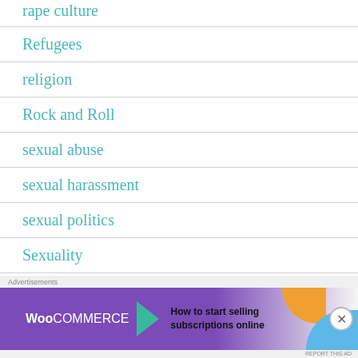rape culture
Refugees
religion
Rock and Roll
sexual abuse
sexual harassment
sexual politics
Sexuality
Sociology
[Figure (other): WooCommerce advertisement banner: 'How to start selling subscriptions online']